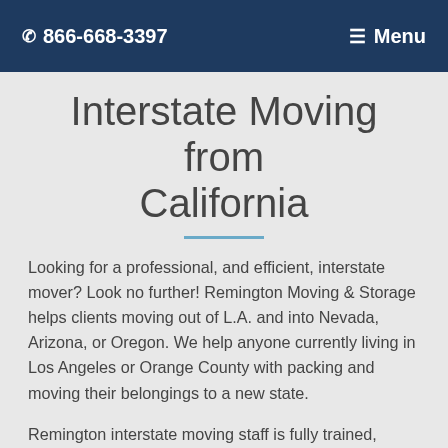☎ 866-668-3397   ☰ Menu
Interstate Moving from California
Looking for a professional, and efficient, interstate mover? Look no further! Remington Moving & Storage helps clients moving out of L.A. and into Nevada, Arizona, or Oregon. We help anyone currently living in Los Angeles or Orange County with packing and moving their belongings to a new state.
Remington interstate moving staff is fully trained, professional, and exceptional. They are ready to help you with your interstate move as soon as you are ready. They can answer questions, provide f…